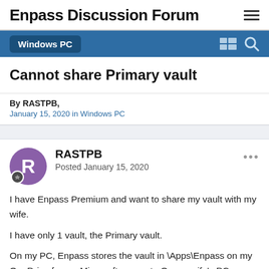Enpass Discussion Forum
Windows PC
Cannot share Primary vault
By RASTPB, January 15, 2020 in Windows PC
RASTPB
Posted January 15, 2020
I have Enpass Premium and want to share my vault with my wife.
I have only 1 vault, the Primary vault.
On my PC, Enpass stores the vault in \Apps\Enpass on my OneDrive for my Microsoft account.  On my wife's PC, Enpass stores the vault in \Apps\Enpass on her OneDrive for her